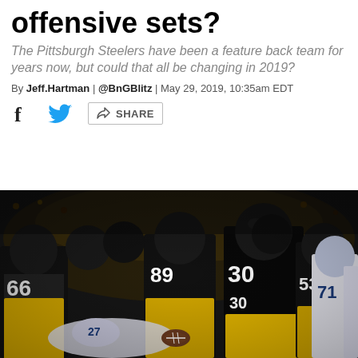offensive sets?
The Pittsburgh Steelers have been a feature back team for years now, but could that all be changing in 2019?
By Jeff.Hartman | @BnGBlitz | May 29, 2019, 10:35am EDT
[Figure (other): Share bar with Facebook, Twitter, and Share icons]
[Figure (photo): Pittsburgh Steelers players in black and yellow uniforms celebrating on field, with player #30 prominent in center, opposing Chargers players in white uniforms visible on right]